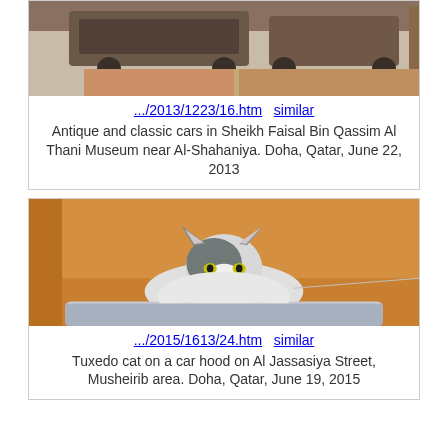[Figure (photo): Antique and classic cars in a museum, viewed from above, with oriental rugs on the floor.]
.../2013/1223/16.htm    similar
Antique and classic cars in Sheikh Faisal Bin Qassim Al Thani Museum near Al-Shahaniya. Doha, Qatar, June 22, 2013
[Figure (photo): A tuxedo cat lying on a car hood, looking at the camera, with an orange/wood background.]
.../2015/1613/24.htm    similar
Tuxedo cat on a car hood on Al Jassasiya Street, Musheirib area. Doha, Qatar, June 19, 2015